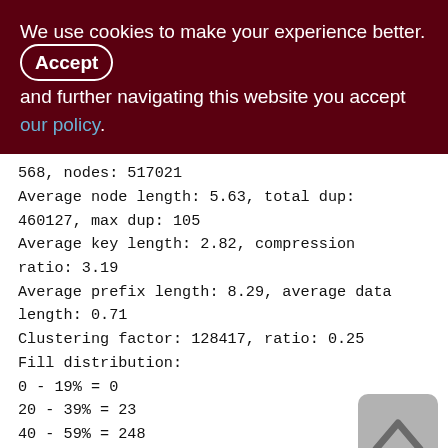We use cookies to make your experience better. By accepting and further navigating this website you accept our policy.
568, nodes: 517021
Average node length: 5.63, total dup: 460127, max dup: 105
Average key length: 2.82, compression ratio: 3.19
Average prefix length: 8.29, average data length: 0.71
Clustering factor: 128417, ratio: 0.25
Fill distribution:
0 - 19% = 0
20 - 39% = 23
40 - 59% = 248
60 - 79% = 188